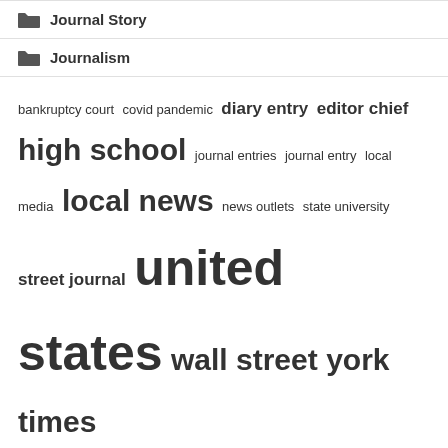Journal Story
Journalism
bankruptcy court  covid pandemic  diary entry  editor chief  high school  journal entries  journal entry  local media  local news  news outlets  state university  street journal  united states  wall street  york times
Recent Posts
Mississippi Women Lead America's Nonprofit Media to Systemic Journalism
Spider Journalism Isn't Great